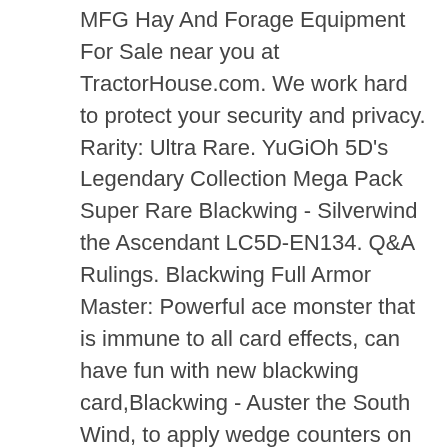MFG Hay And Forage Equipment For Sale near you at TractorHouse.com. We work hard to protect your security and privacy. Rarity: Ultra Rare. YuGiOh 5D's Legendary Collection Mega Pack Super Rare Blackwing - Silverwind the Ascendant LC5D-EN134. Q&A Rulings. Blackwing Full Armor Master: Powerful ace monster that is immune to all card effects, can have fun with new blackwing card,Blackwing - Auster the South Wind, to apply wedge counters on all the monsters … Watch; Yugioh - Blackwing Full Armor Master LED3-EN023 - Ultra Rare 1st Edition NM. YuGiOh 5D's Legendary Collection Mega Pack Secret Rare Blackwing Armor Master LC5D-EN132. blackwing full armor master … Models include OMF757HV, IFA80K946, KMA13G920LP, KMW09G920L14, … Reviewed in the United States on September 23, 2020. Reviewed in the United States on June 17, 2019, Reviewed in the United